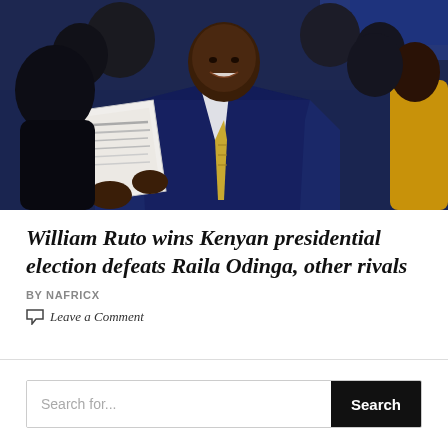[Figure (photo): William Ruto smiling and holding up a document/certificate, wearing a dark blue suit and patterned tie, surrounded by other people including someone in yellow clothing on the right]
William Ruto wins Kenyan presidential election defeats Raila Odinga, other rivals
BY NAFRICX
Leave a Comment